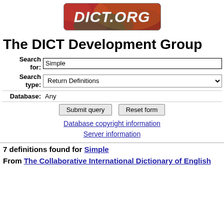[Figure (logo): DICT.org logo — colorful blurred background with white bold italic text 'DICT.ORG' and rounded rectangle border]
The DICT Development Group
Search for: Simple
Search type: Return Definitions
Database: Any
Submit query   Reset form
Database copyright information
Server information
7 definitions found for Simple
From The Collaborative International Dictionary of English